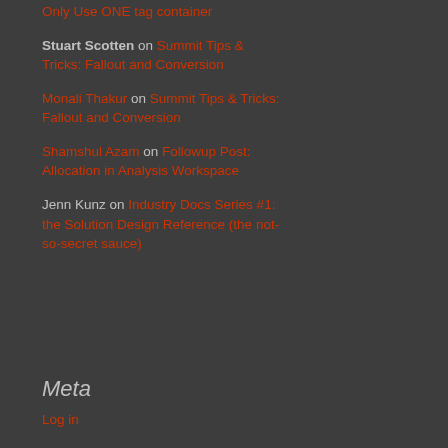Only Use ONE tag container
Stuart Scotten on Summit Tips & Tricks: Fallout and Conversion
Monali Thakur on Summit Tips & Tricks: Fallout and Conversion
Shamshul Azam on Followup Post: Allocation in Analysis Workspace
Jenn Kunz on Industry Docs Series #1: the Solution Design Reference (the not-so-secret sauce)
Meta
Log in